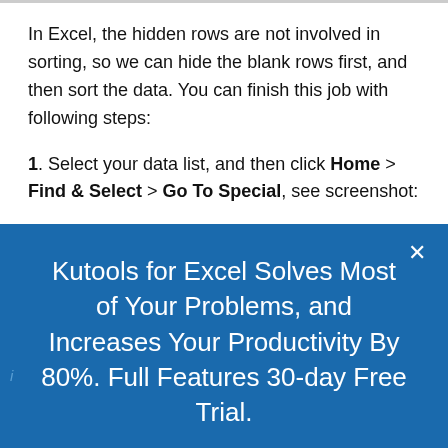In Excel, the hidden rows are not involved in sorting, so we can hide the blank rows first, and then sort the data. You can finish this job with following steps:
1. Select your data list, and then click Home > Find & Select > Go To Special, see screenshot:
Kutools for Excel Solves Most of Your Problems, and Increases Your Productivity By 80%. Full Features 30-day Free Trial.
Yes please!